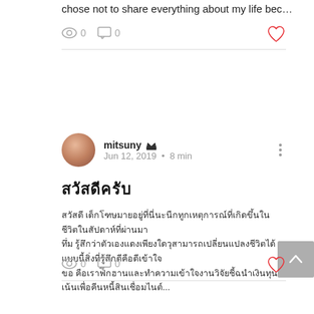chose not to share everything about my life bec…
0 views 0 comments 0 likes
[Figure (screenshot): Blog post card with avatar photo of mitsuny, admin badge, date Jun 12, 2019, 8 min read, Thai script title and body text, view/comment/like counts]
0 views 0 comments 0 likes